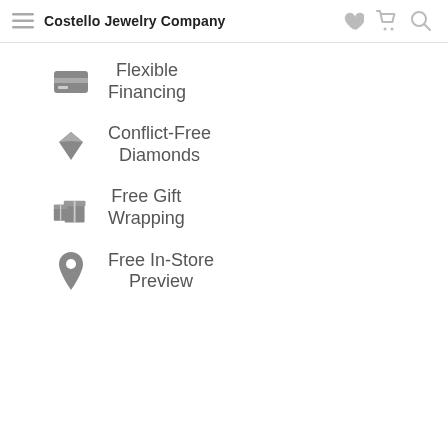Costello Jewelry Company
Flexible Financing
Conflict-Free Diamonds
Free Gift Wrapping
Free In-Store Preview